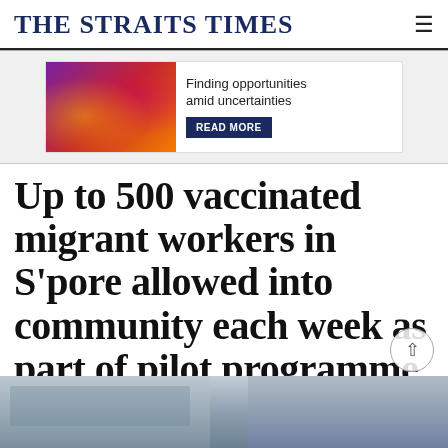THE STRAITS TIMES
[Figure (photo): Advertisement banner: panel discussion photo on left with red/purple background, text 'Finding opportunities amid uncertainties' and a 'READ MORE' button on right white panel]
Up to 500 vaccinated migrant workers in S'pore allowed into community each week as part of pilot programme
[Figure (photo): Bottom strip showing exterior of buildings, appears to be a dormitory or industrial facility with blue window frames under an overcast sky]